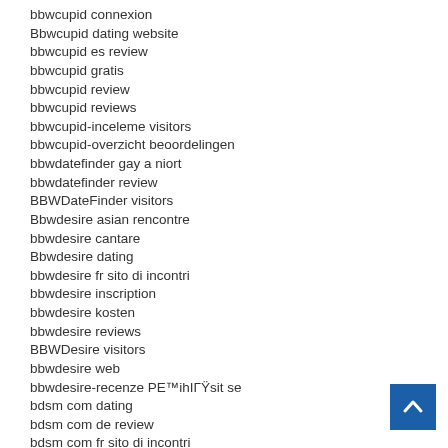bbwcupid connexion
Bbwcupid dating website
bbwcupid es review
bbwcupid gratis
bbwcupid review
bbwcupid reviews
bbwcupid-inceleme visitors
bbwcupid-overzicht beoordelingen
bbwdatefinder gay a niort
bbwdatefinder review
BBWDateFinder visitors
Bbwdesire asian rencontre
bbwdesire cantare
Bbwdesire dating
bbwdesire fr sito di incontri
bbwdesire inscription
bbwdesire kosten
bbwdesire reviews
BBWDesire visitors
bbwdesire web
bbwdesire-recenze PE™ihIГŸsit se
bdsm com dating
bdsm com de review
bdsm com fr sito di incontri